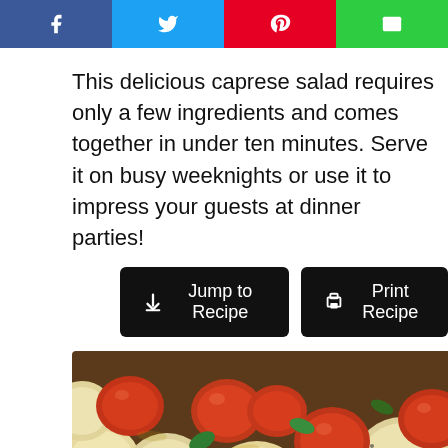[Figure (other): Social sharing buttons: Facebook (blue), Twitter (light blue), Pinterest (red), Email (green)]
This delicious caprese salad requires only a few ingredients and comes together in under ten minutes. Serve it on busy weeknights or use it to impress your guests at dinner parties!
[Figure (other): Two black buttons: 'Jump to Recipe' with a down arrow icon, and 'Print Recipe' with a printer icon. A blue heart button and share button on the right side with count 15.]
[Figure (photo): Close-up photo of caprese salad with mozzarella balls and cherry tomatoes with basil]